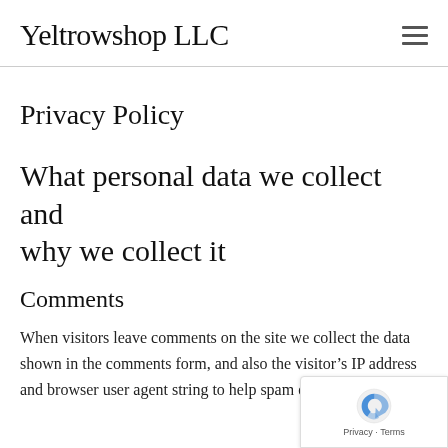Yeltrowshop LLC
Privacy Policy
What personal data we collect and why we collect it
Comments
When visitors leave comments on the site we collect the data shown in the comments form, and also the visitor’s IP address and browser user agent string to help spam detection.